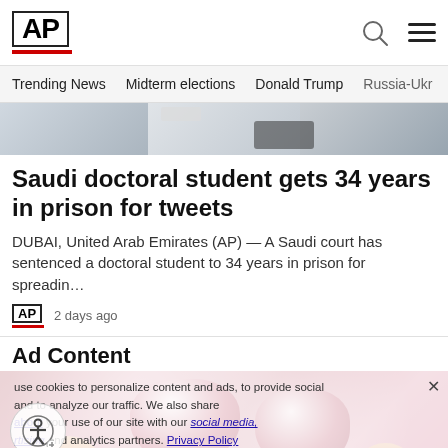AP
Trending News  Midterm elections  Donald Trump  Russia-Ukr
[Figure (photo): Partial news article image strip at top]
Saudi doctoral student gets 34 years in prison for tweets
DUBAI, United Arab Emirates (AP) — A Saudi court has sentenced a doctoral student to 34 years in prison for spreadin…
AP  2 days ago
Ad Content
[Figure (photo): Close-up photo of sugar-coated gummy candies held in fingers, with accessibility icon overlay and cookie consent overlay]